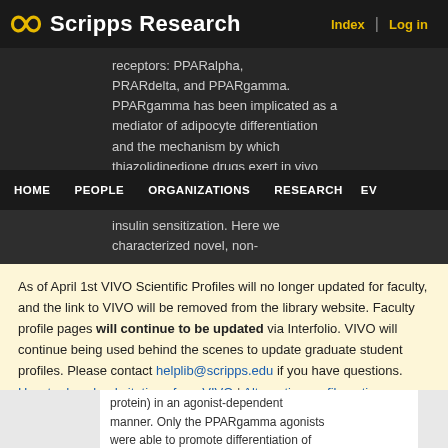Scripps Research — Index | Log in
receptors: PPARalpha, PRARdelta, and PPARgamma. PPARgamma has been implicated as a mediator of adipocyte differentiation and the mechanism by which thiazolidinedione drugs exert in vivo insulin sensitization. Here we characterized novel, non-
HOME   PEOPLE   ORGANIZATIONS   RESEARCH   EV
As of April 1st VIVO Scientific Profiles will no longer updated for faculty, and the link to VIVO will be removed from the library website. Faculty profile pages will continue to be updated via Interfolio. VIVO will continue being used behind the scenes to update graduate student profiles. Please contact helplib@scripps.edu if you have questions.
How to download citations from VIVO | Alternative profile options
protein) in an agonist-dependent manner. Only the PPARgamma agonists were able to promote differentiation of 3T3-L1 preadipocytes. In diabetic db/db mice all PPARgamma agonists were orally active insulin-sensitizing agents producing reductions of